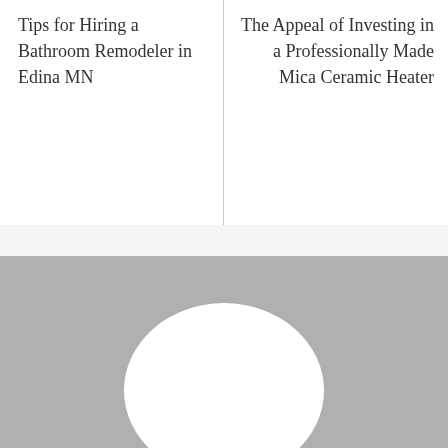Tips for Hiring a Bathroom Remodeler in Edina MN
The Appeal of Investing in a Professionally Made Mica Ceramic Heater
[Figure (illustration): Gray rectangle with a white oval/circle shape centered at the bottom, partially cropped. Represents a placeholder image or profile picture graphic.]